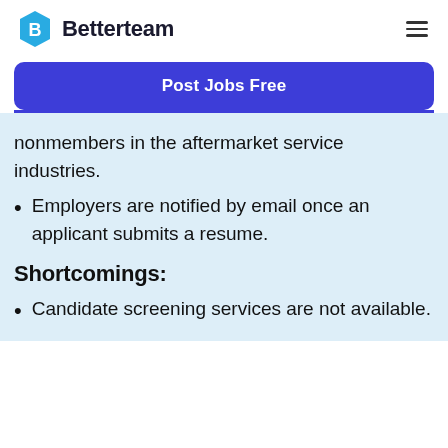Betterteam
Post Jobs Free
nonmembers in the aftermarket service industries.
Employers are notified by email once an applicant submits a resume.
Shortcomings:
Candidate screening services are not available.